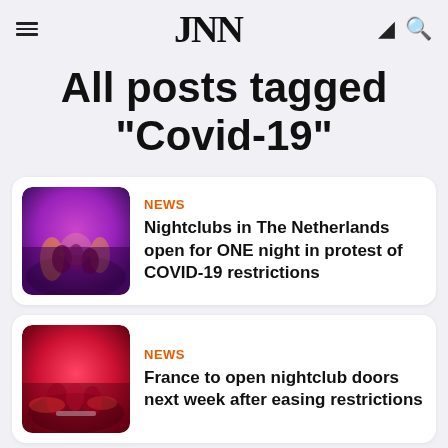JNN
All posts tagged "Covid-19"
NEWS
Nightclubs in The Netherlands open for ONE night in protest of COVID-19 restrictions
NEWS
France to open nightclub doors next week after easing restrictions